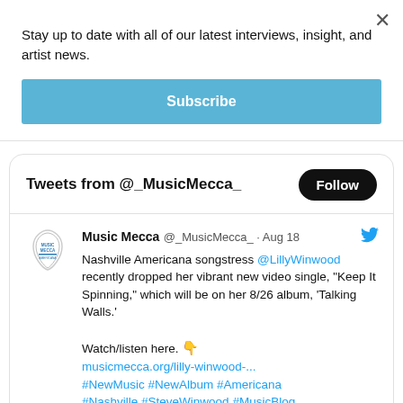Stay up to date with all of our latest interviews, insight, and artist news.
Subscribe
[Figure (screenshot): Twitter/X widget showing tweets from @_MusicMecca_ with a Follow button]
Tweets from @_MusicMecca_
Music Mecca @_MusicMecca_ · Aug 18
Nashville Americana songstress @LillyWinwood recently dropped her vibrant new video single, "Keep It Spinning," which will be on her 8/26 album, 'Talking Walls.'

Watch/listen here. 👇
musicmecca.org/lilly-winwood-...
#NewMusic #NewAlbum #Americana
#Nashville #SteveWinwood #MusicBlog